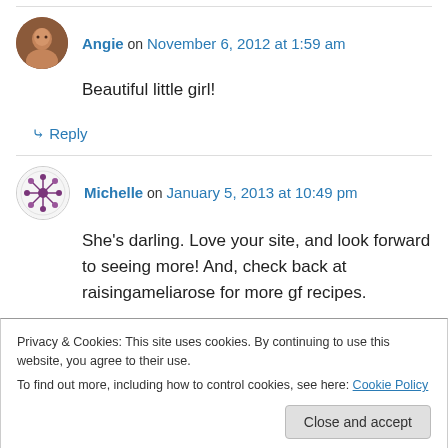Angie on November 6, 2012 at 1:59 am
Beautiful little girl!
↳ Reply
Michelle on January 5, 2013 at 10:49 pm
She's darling. Love your site, and look forward to seeing more! And, check back at raisingameliarose for more gf recipes.
12:49 pm
Privacy & Cookies: This site uses cookies. By continuing to use this website, you agree to their use.
To find out more, including how to control cookies, see here: Cookie Policy
Close and accept